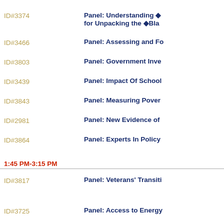ID#3374 — Panel: Understanding … for Unpacking the ◆Bla…
ID#3466 — Panel: Assessing and Fo…
ID#3803 — Panel: Government Inve…
ID#3439 — Panel: Impact Of School…
ID#3843 — Panel: Measuring Pover…
ID#2981 — Panel: New Evidence of …
ID#3864 — Panel: Experts In Policy…
1:45 PM-3:15 PM
ID#3817 — Panel: Veterans' Transiti…
ID#3725 — Panel: Access to Energy…